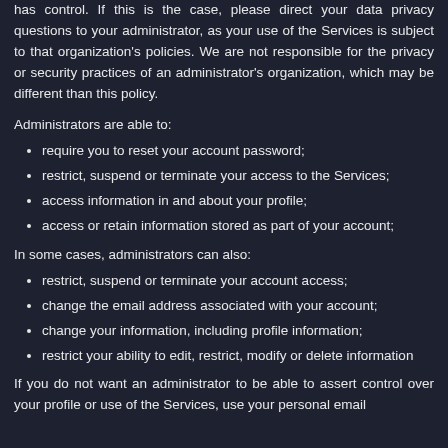has control. If this is the case, please direct your data privacy questions to your administrator, as your use of the Services is subject to that organization's policies. We are not responsible for the privacy or security practices of an administrator's organization, which may be different than this policy.
Administrators are able to:
require you to reset your account password;
restrict, suspend or terminate your access to the Services;
access information in and about your profile;
access or retain information stored as part of your account;
In some cases, administrators can also:
restrict, suspend or terminate your account access;
change the email address associated with your account;
change your information, including profile information;
restrict your ability to edit, restrict, modify or delete information
If you do not want an administrator to be able to assert control over your profile or use of the Services, use your personal email